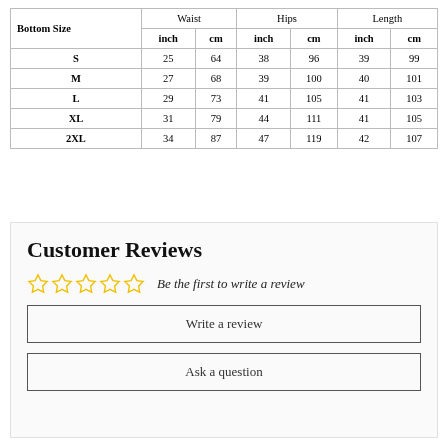| Bottom Size | Waist inch | Waist cm | Hips inch | Hips cm | Length inch | Length cm |
| --- | --- | --- | --- | --- | --- | --- |
| S | 25 | 64 | 38 | 96 | 39 | 99 |
| M | 27 | 68 | 39 | 100 | 40 | 101 |
| L | 29 | 73 | 41 | 105 | 41 | 103 |
| XL | 31 | 79 | 44 | 111 | 41 | 105 |
| 2XL | 34 | 87 | 47 | 119 | 42 | 107 |
Customer Reviews
Be the first to write a review
Write a review
Ask a question